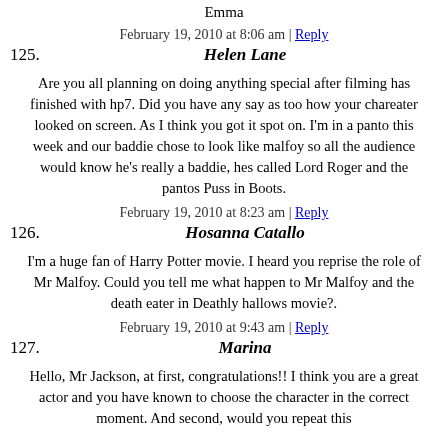Emma
February 19, 2010 at 8:06 am | Reply
125.   Helen Lane
Are you all planning on doing anything special after filming has finished with hp7. Did you have any say as too how your chareater looked on screen. As I think you got it spot on. I'm in a panto this week and our baddie chose to look like malfoy so all the audience would know he's really a baddie, hes called Lord Roger and the pantos Puss in Boots.
February 19, 2010 at 8:23 am | Reply
126.   Hosanna Catallo
I'm a huge fan of Harry Potter movie. I heard you reprise the role of Mr Malfoy. Could you tell me what happen to Mr Malfoy and the death eater in Deathly hallows movie?.
February 19, 2010 at 9:43 am | Reply
127.   Marina
Hello, Mr Jackson, at first, congratulations!! I think you are a great actor and you have known to choose the character in the correct moment. And second, would you repeat this